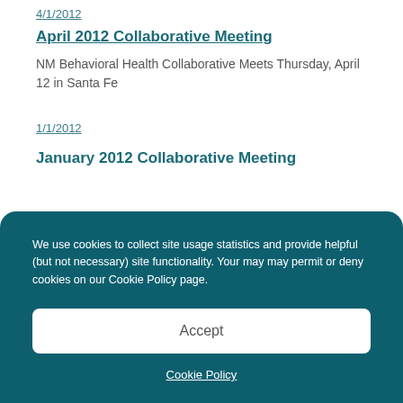4/1/2012
April 2012 Collaborative Meeting
NM Behavioral Health Collaborative Meets Thursday, April 12 in Santa Fe
1/1/2012
January 2012 Collaborative Meeting
We use cookies to collect site usage statistics and provide helpful (but not necessary) site functionality. Your may may permit or deny cookies on our Cookie Policy page.
Accept
Cookie Policy